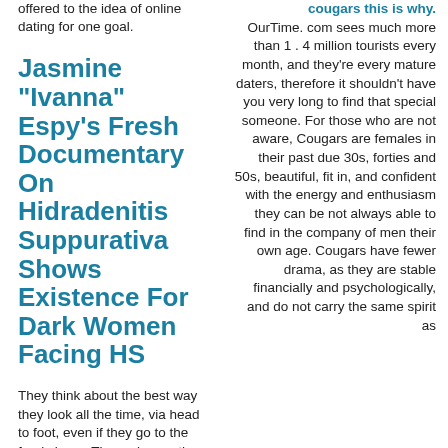offered to the idea of online dating for one goal.
Jasmine "Ivanna" Espy's Fresh Documentary On Hidradenitis Suppurativa Shows Existence For Dark Women Facing HS
They think about the best way they look all the time, via head to foot, even if they go to the food shops. The make-up, the
cougars this is why. OurTime. com sees much more than 1 . 4 million tourists every month, and they're every mature daters, therefore it shouldn't have you very long to find that special someone. For those who are not aware, Cougars are females in their past due 30s, forties and 50s, beautiful, fit in, and confident with the energy and enthusiasm they can be not always able to find in the company of men their own age. Cougars have fewer drama, as they are stable financially and psychologically, and do not carry the same spirit as